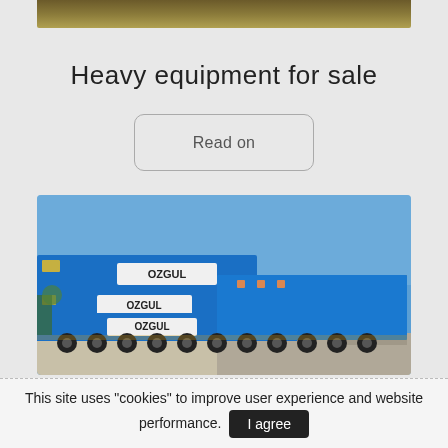[Figure (photo): Top portion of a partially visible image (golden/brown tones), cropped at the top of the page]
Heavy equipment for sale
Read on
[Figure (photo): Photograph of multiple blue OZGUL brand heavy transport trailers/lowbed semi-trailers parked in a row outdoors, clear blue sky, industrial area in background]
This site uses "cookies" to improve user experience and website performance.
I agree